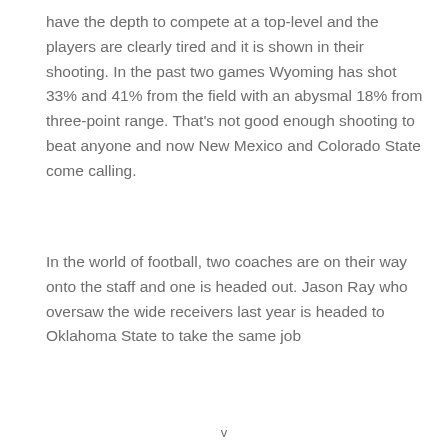have the depth to compete at a top-level and the players are clearly tired and it is shown in their shooting. In the past two games Wyoming has shot 33% and 41% from the field with an abysmal 18% from three-point range. That's not good enough shooting to beat anyone and now New Mexico and Colorado State come calling.
In the world of football, two coaches are on their way onto the staff and one is headed out. Jason Ray who oversaw the wide receivers last year is headed to Oklahoma State to take the same job
v